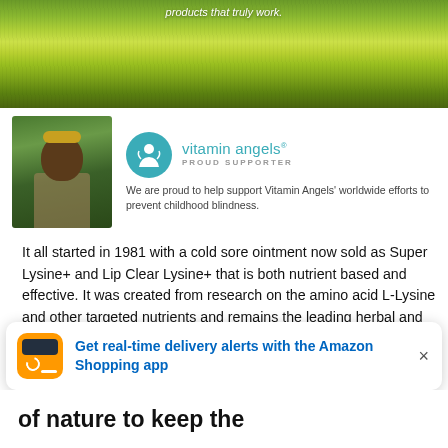[Figure (photo): Green grassy landscape banner with text 'products that truly work.' overlaid in italics]
[Figure (photo): Vitamin Angels proud supporter section with a smiling child photo on left, teal Vitamin Angels logo and text on right: 'We are proud to help support Vitamin Angels' worldwide efforts to prevent childhood blindness.']
It all started in 1981 with a cold sore ointment now sold as Super Lysine+ and Lip Clear Lysine+ that is both nutrient based and effective. It was created from research on the amino acid L-Lysine and other targeted nutrients and remains the leading herbal and nutrient-based cold sore ointment in the US and Canada. Quantum Health was the first company to develop zinc lozenges and our products now include other immune support products, as well as products for skin care and repair, DEET-free, plant-based mosquito repellent, and products for maintaining eye health.*
Get real-time delivery alerts with the Amazon Shopping app
of nature to keep the